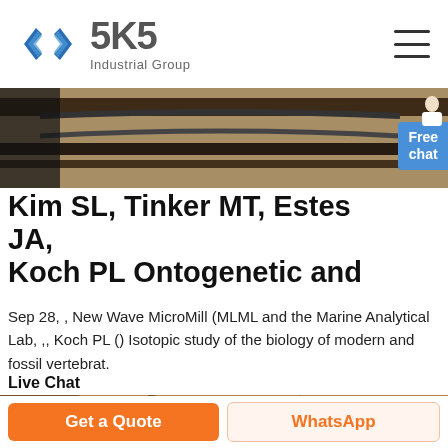[Figure (logo): SKS Industrial Group logo with blue angular bracket icon and gray SKS text]
[Figure (photo): Industrial machinery/equipment banner photo showing metal tracks or rails]
[Figure (infographic): Free chat button with person icon on the right side]
Kim SL, Tinker MT, Estes JA, Koch PL Ontogenetic and
Sep 28, , New Wave MicroMill (MLML and the Marine Analytical Lab, ,, Koch PL () Isotopic study of the biology of modern and fossil vertebrat.
Live Chat
[Figure (photo): Industrial warehouse or factory interior photo]
Get a Quote
WhatsApp